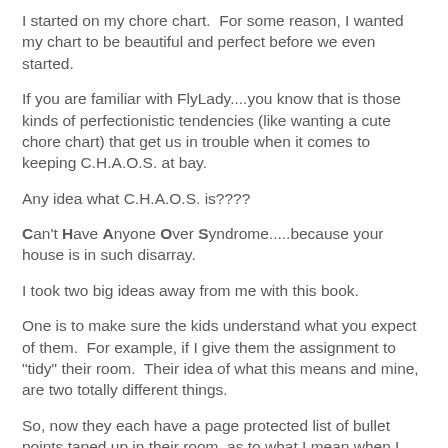I started on my chore chart.  For some reason, I wanted my chart to be beautiful and perfect before we even started.
If you are familiar with FlyLady....you know that is those kinds of perfectionistic tendencies (like wanting a cute chore chart) that get us in trouble when it comes to keeping C.H.A.O.S. at bay.
Any idea what C.H.A.O.S. is????
Can't Have Anyone Over Syndrome.....because your house is in such disarray.
I took two big ideas away from me with this book.
One is to make sure the kids understand what you expect of them.  For example, if I give them the assignment to "tidy" their room.  Their idea of what this means and mine, are two totally different things.
So, now they each have a page protected list of bullet points taped up in their room, as to what I mean when I say "tidy"